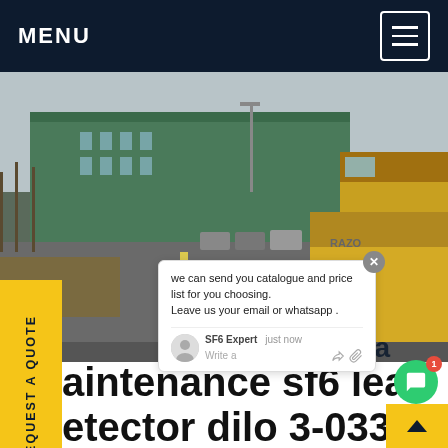MENU
[Figure (photo): Street photo showing yellow trucks lined up on a road next to an industrial building with a green roof. Overcast sky, bare trees on the left.]
Maintenance sf6 leak detector dilo 3-033-r002 France
Maintenance sf6 leak detector dilo 3-033-r002 France,3-033-R002 SF6China sf6 gas Gas Detector